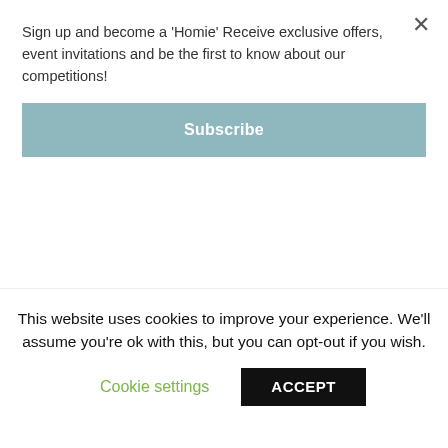Sign up and become a 'Homie' Receive exclusive offers, event invitations and be the first to know about our competitions!
Subscribe
greenhouse gas emissions as the exhaust emissions of every car, train, ship and aircraft on the planet! But if we all went vegan, the world's food-related emissions would drop by 70% by 2050. So whilst your fridge might
This website uses cookies to improve your experience. We'll assume you're ok with this, but you can opt-out if you wish.
Cookie settings
ACCEPT